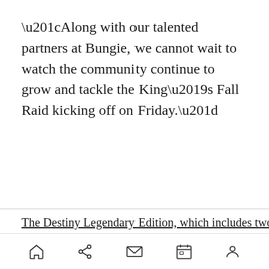“Along with our talented partners at Bungie, we cannot wait to watch the community continue to grow and tackle the King’s Fall Raid kicking off on Friday.”
The Destiny Legendary Edition, which includes two
home share mail calendar profile